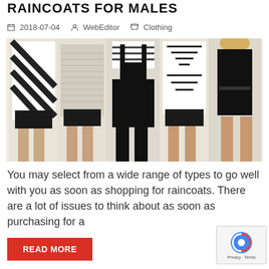RAINCOATS FOR MALES
2018-07-04   WebEditor   Clothing
[Figure (photo): Five women models wearing various black and white outfits including striped blouses with leather shorts, a grey textured top, black overalls, a geometric striped blouse with shorts, and a black mini dress]
You may select from a wide range of types to go well with you as soon as shopping for raincoats. There are a lot of issues to think about as soon as purchasing for a
READ MORE